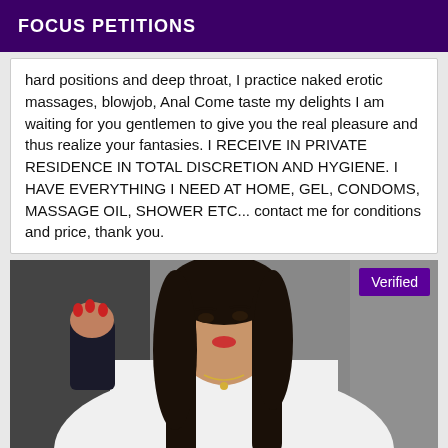FOCUS PETITIONS
hard positions and deep throat, I practice naked erotic massages, blowjob, Anal Come taste my delights I am waiting for you gentlemen to give you the real pleasure and thus realize your fantasies. I RECEIVE IN PRIVATE RESIDENCE IN TOTAL DISCRETION AND HYGIENE. I HAVE EVERYTHING I NEED AT HOME, GEL, CONDOMS, MASSAGE OIL, SHOWER ETC... contact me for conditions and price, thank you.
[Figure (photo): Person in white shirt taking a selfie, with dark hair, verified badge in upper right corner]